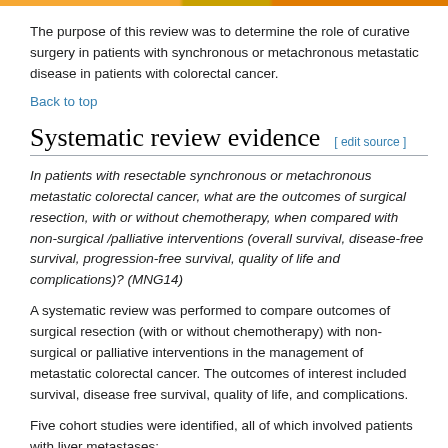The purpose of this review was to determine the role of curative surgery in patients with synchronous or metachronous metastatic disease in patients with colorectal cancer.
Back to top
Systematic review evidence [ edit source ]
In patients with resectable synchronous or metachronous metastatic colorectal cancer, what are the outcomes of surgical resection, with or without chemotherapy, when compared with non-surgical /palliative interventions (overall survival, disease-free survival, progression-free survival, quality of life and complications)? (MNG14)
A systematic review was performed to compare outcomes of surgical resection (with or without chemotherapy) with non-surgical or palliative interventions in the management of metastatic colorectal cancer. The outcomes of interest included survival, disease free survival, quality of life, and complications.
Five cohort studies were identified, all of which involved patients with liver metastases: